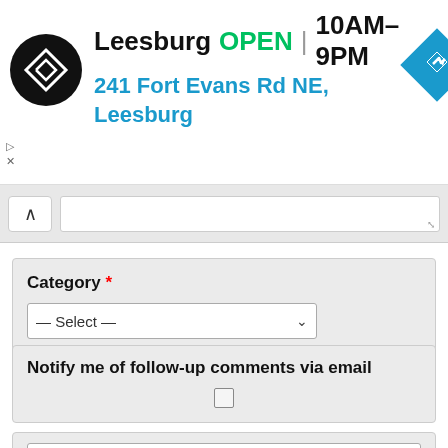[Figure (screenshot): Business listing banner: Leesburg, OPEN, 10AM-9PM, 241 Fort Evans Rd NE, Leesburg with logo and navigation icon]
Category *
— Select —
Notify me of follow-up comments via email
Submit
HOME | CONTACT | PRIVACY POLICY | TERMS & CONDITIONS | FACEBOOK | GOOGLE PLUS